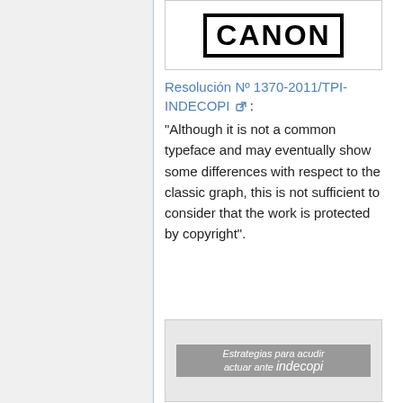[Figure (logo): Canon logo in bold black block letters with a rectangular border]
Resolución Nº 1370-2011/TPI-INDECOPI: "Although it is not a common typeface and may eventually show some differences with respect to the classic graph, this is not sufficient to consider that the work is protected by copyright".
[Figure (photo): Book or document cover showing 'Estrategias para acudir actuar ante indecopi' text on a grey banner]